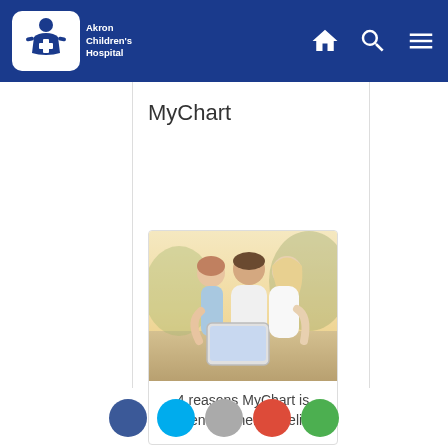Akron Children's Hospital
MyChart
[Figure (photo): Family of three (father, mother, young daughter) smiling and looking at a tablet outdoors in warm sunlight]
4 reasons MyChart is essential when traveling